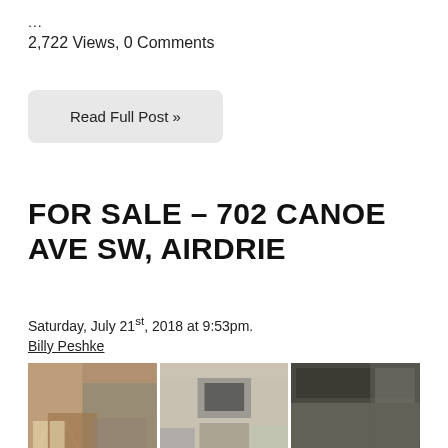…
2,722 Views, 0 Comments
Read Full Post »
FOR SALE – 702 CANOE AVE SW, AIRDRIE
Saturday, July 21st, 2018 at 9:53pm.
Billy Peshke
[Figure (photo): Three interior photos of a home for sale: dining room, living room, and kitchen]